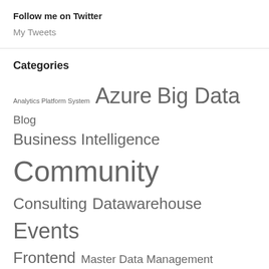Follow me on Twitter
My Tweets
Categories
Analytics Platform System Azure Big Data Blog Business Intelligence Community Consulting Datawarehouse Events Frontend Master Data Management Microsoft Misc Mobile Bi MVP PowerBI Powershell Project Managing Speaks SQLSaturday SQL Server SQLShack System Integration Uncategorized